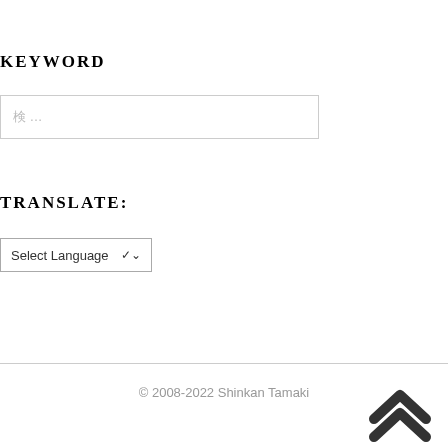KEYWORD
[Figure (screenshot): Search input field with placeholder text]
TRANSLATE:
[Figure (screenshot): Select Language dropdown widget]
© 2008-2022 Shinkan Tamaki